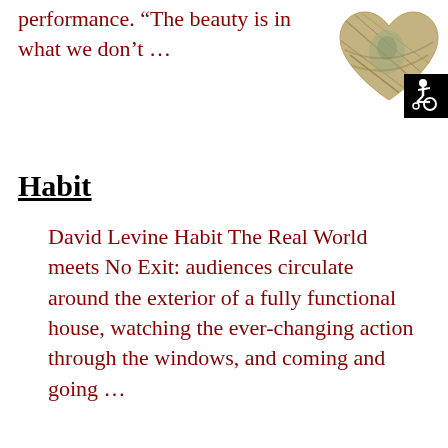performance. “The beauty is in what we don’t …
[Figure (illustration): Heart-shaped image made of dollar bills/money with a black box in the lower-right corner containing a white wheelchair accessibility icon.]
Habit
David Levine Habit The Real World meets No Exit: audiences circulate around the exterior of a fully functional house, watching the ever-changing action through the windows, and coming and going …